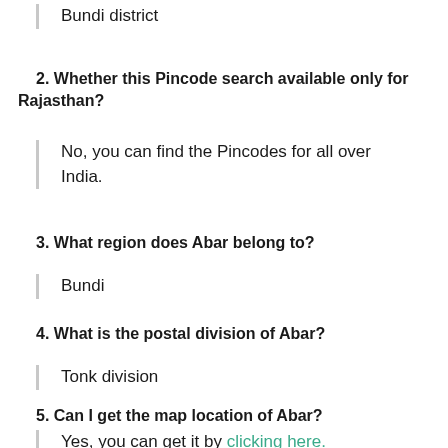Bundi district
2. Whether this Pincode search available only for Rajasthan?
No, you can find the Pincodes for all over India.
3. What region does Abar belong to?
Bundi
4. What is the postal division of Abar?
Tonk division
5. Can I get the map location of Abar?
Yes, you can get it by clicking here.